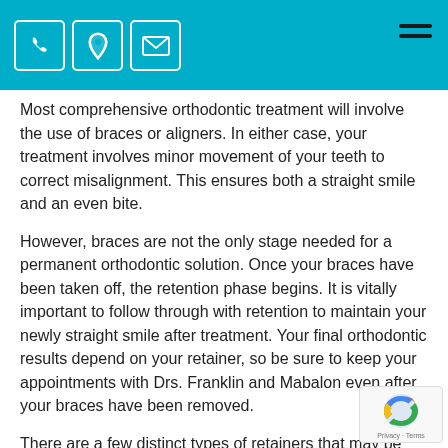Navigation header with phone, location, email icons and hamburger menu
Most comprehensive orthodontic treatment will involve the use of braces or aligners. In either case, your treatment involves minor movement of your teeth to correct misalignment. This ensures both a straight smile and an even bite.
However, braces are not the only stage needed for a permanent orthodontic solution. Once your braces have been taken off, the retention phase begins. It is vitally important to follow through with retention to maintain your newly straight smile after treatment. Your final orthodontic results depend on your retainer, so be sure to keep your appointments with Drs. Franklin and Mabalon even after your braces have been removed.
There are a few distinct types of retainers that may be recommended to you: